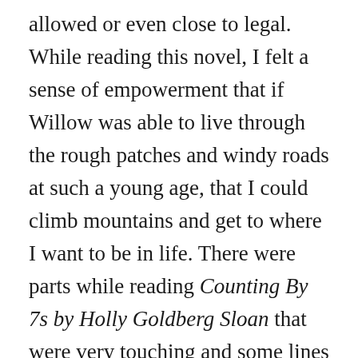allowed or even close to legal. While reading this novel, I felt a sense of empowerment that if Willow was able to live through the rough patches and windy roads at such a young age, that I could climb mountains and get to where I want to be in life. There were parts while reading Counting By 7s by Holly Goldberg Sloan that were very touching and some lines served as inspirational quotes that some people could live by. However, there were other parts of the book that didn't have enough detail. Sometimes you could not really put yourself in Willow's shoes and really understand how they are feeling. The author could have expanded and